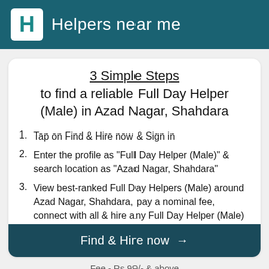Helpers near me
3 Simple Steps
to find a reliable Full Day Helper (Male) in Azad Nagar, Shahdara
1. Tap on Find & Hire now & Sign in
2. Enter the profile as "Full Day Helper (Male)" & search location as "Azad Nagar, Shahdara"
3. View best-ranked Full Day Helpers (Male) around Azad Nagar, Shahdara, pay a nominal fee, connect with all & hire any Full Day Helper (Male) you like
Find & Hire now →
Fee - Rs.99/- & above